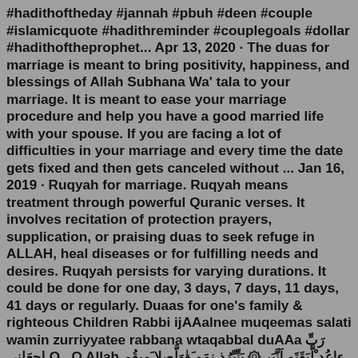#hadithoftheday #jannah #pbuh #deen #couple #islamicquote #hadithreminder #couplegoals #dollar #hadithoftheprophet... Apr 13, 2020 · The duas for marriage is meant to bring positivity, happiness, and blessings of Allah Subhana Wa' tala to your marriage. It is meant to ease your marriage procedure and help you have a good married life with your spouse. If you are facing a lot of difficulties in your marriage and every time the date gets fixed and then gets canceled without ... Jan 16, 2019 · Ruqyah for marriage. Ruqyah means treatment through powerful Quranic verses. It involves recitation of protection prayers, supplication, or praising duas to seek refuge in ALLAH, heal diseases or for fulfilling needs and desires. Ruqyah persists for varying durations. It could be done for one day, 3 days, 7 days, 11 days, 41 days or regularly. Duaas for one's family & righteous Children Rabbi ijAAalnee muqeemas salati wamin zurriyyatee rabbana wtaqabbal duAAa رَبِّ اجعَلنى O...O Allah ءاعُد ْلَّبَقَتَو اَنَّبَر ۞ ىَنِّيِّرُذ نِمَو َةٰوَلَّصلا َميِقُم O...O Allah